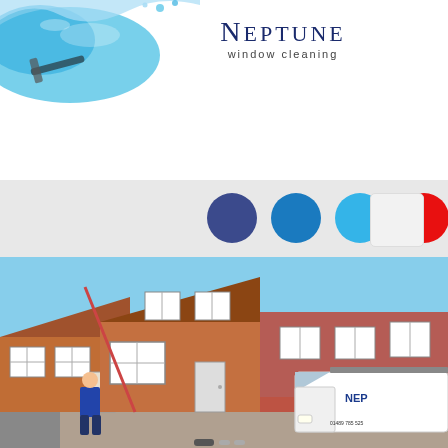[Figure (illustration): Blue water splash / wave graphic in top-left corner of the page header]
[Figure (logo): Neptune Window Cleaning logo with stylized text 'NEPTUNE' and subtitle 'window cleaning']
[Figure (infographic): Four colored circles (dark blue, medium blue, light blue, red) used as color swatches or navigation elements]
[Figure (other): Small white/light grey square box on the right side, likely a social media or navigation button]
[Figure (photo): Photograph of a brick house with white-framed windows being cleaned by a worker using a long pole, with a white Neptune van parked in the driveway on the right]